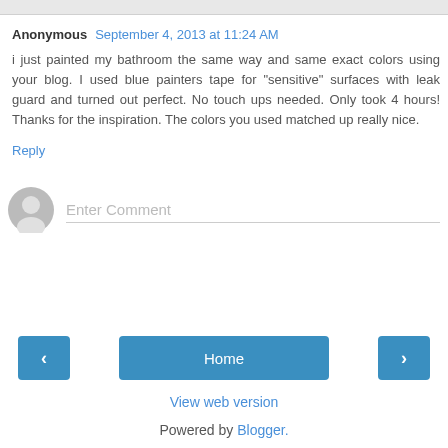Anonymous  September 4, 2013 at 11:24 AM
i just painted my bathroom the same way and same exact colors using your blog. I used blue painters tape for "sensitive" surfaces with leak guard and turned out perfect. No touch ups needed. Only took 4 hours! Thanks for the inspiration. The colors you used matched up really nice.
Reply
Enter Comment
Home
View web version
Powered by Blogger.